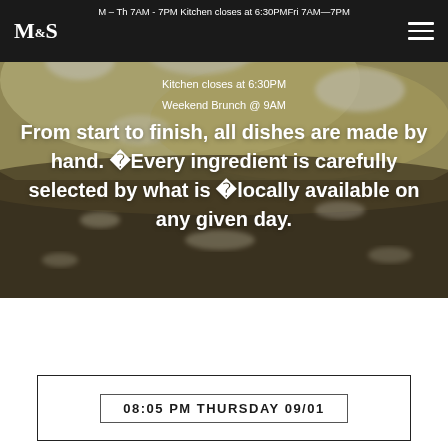M – Th 7AM - 7PM Kitchen closes at 6:30PM Fri 7AM – 7PM
Kitchen closes at 6:30PM
Weekend Brunch @ 9AM
From start to finish, all dishes are made by hand. ❧Every ingredient is carefully selected by what is ❧locally available on any given day.
[Figure (photo): Close-up photo of flour-dusted dough on a dark surface, showing textured white flour scattered across a dark baking stone or board.]
08:05 PM THURSDAY 09/01